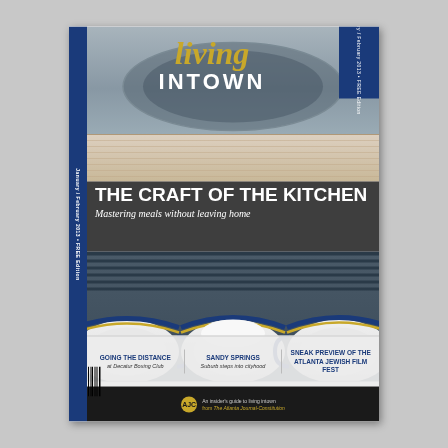[Figure (photo): Magazine cover of 'living INTOWN'. Top portion shows an overhead view of a kitchen sink with cups/mugs. Middle shows three white mugs with blue and gold rims on a rack. Bottom has teasers and AJC footer.]
living INTOWN
THE CRAFT OF THE KITCHEN
Mastering meals without leaving home
GOING THE DISTANCE at Decatur Boxing Club
SANDY SPRINGS Suburb steps into cityhood
SNEAK PREVIEW OF THE ATLANTA JEWISH FILM FEST
An insider's guide to living intown from The Atlanta Journal-Constitution